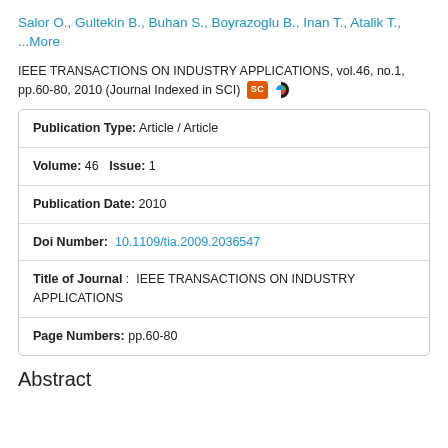Salor O., Gultekin B., Buhan S., Boyrazoglu B., Inan T., Atalik T., ...More
IEEE TRANSACTIONS ON INDUSTRY APPLICATIONS, vol.46, no.1, pp.60-80, 2010 (Journal Indexed in SCI)
| Field | Value |
| --- | --- |
| Publication Type: | Article / Article |
| Volume: 46   Issue: | 1 |
| Publication Date: | 2010 |
| Doi Number: | 10.1109/tia.2009.2036547 |
| Title of Journal: | IEEE TRANSACTIONS ON INDUSTRY APPLICATIONS |
| Page Numbers: | pp.60-80 |
Abstract